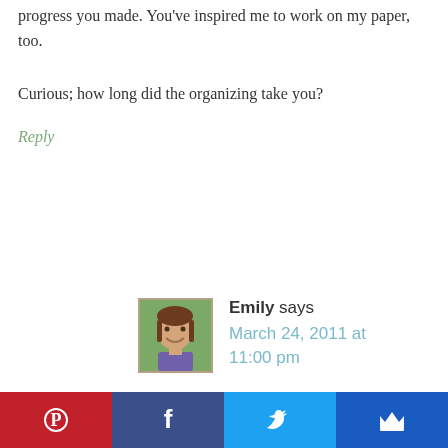progress you made. You've inspired me to work on my paper, too.
Curious; how long did the organizing take you?
Reply
Emily says
March 24, 2011 at 11:00 pm
Thanks Mary! Paper is definitely
[Figure (photo): Profile photo of Emily, a young woman with brown hair, smiling, outdoors.]
Pinterest | Facebook | Twitter | [crown icon]